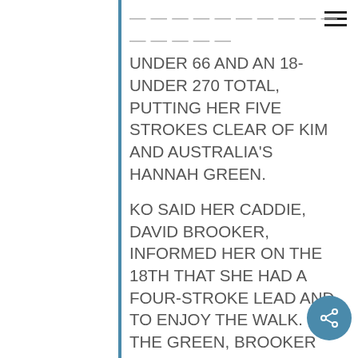hamburger menu icon
UNDER 66 AND AN 18-UNDER 270 TOTAL, PUTTING HER FIVE STROKES CLEAR OF KIM AND AUSTRALIA'S HANNAH GREEN.
KO SAID HER CADDIE, DAVID BROOKER, INFORMED HER ON THE 18TH THAT SHE HAD A FOUR-STROKE LEAD AND TO ENJOY THE WALK. ON THE GREEN, BROOKER LET HER KNOW THAT HIS OLD BOSS LORENA OCHOA, USED TO SAY THAT PROFESSIONALS MUST FINISH OFF